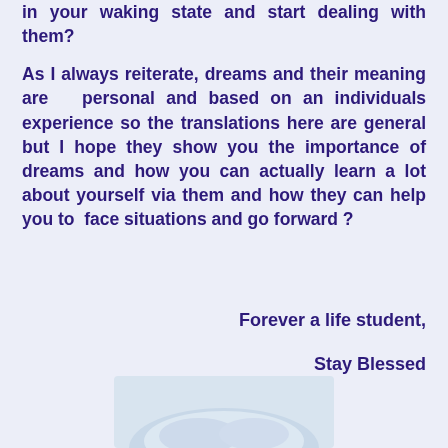in your waking state and start dealing with them?

As I always reiterate, dreams and their meaning are personal and based on an individuals experience so the translations here are general but I hope they show you the importance of dreams and how you can actually learn a lot about yourself via them and how they can help you to face situations and go forward ?
Forever a life student,
Stay Blessed
[Figure (photo): Partial view of a person or object at the bottom of the page, appears to be light colored clothing or fabric]